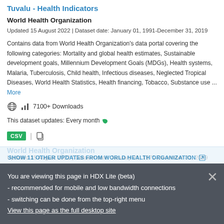Tuvalu - Health Indicators
World Health Organization
Updated 15 August 2022 | Dataset date: January 01, 1991-December 31, 2019
Contains data from World Health Organization's data portal covering the following categories: Mortality and global health estimates, Sustainable development goals, Millennium Development Goals (MDGs), Health systems, Malaria, Tuberculosis, Child health, Infectious diseases, Neglected Tropical Diseases, World Health Statistics, Health financing, Tobacco, Substance use ... More
7100+ Downloads
This dataset updates: Every month
CSV
SHOW 11 OTHER UPDATES FROM WORLD HEALTH ORGANIZATION
You are viewing this page in HDX Lite (beta)
- recommended for mobile and low bandwidth connections
- switching can be done from the top-right menu
View this page as the full desktop site